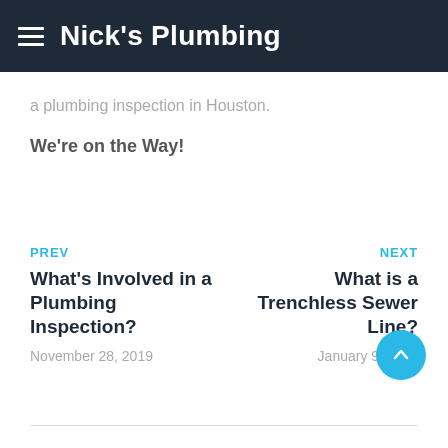Nick's Plumbing
a plumbing inspection in Houston.
We're on the Way!
PREV
What's Involved in a Plumbing Inspection?
November 28, 2019
NEXT
What is a Trenchless Sewer Line?
January 9, 2020